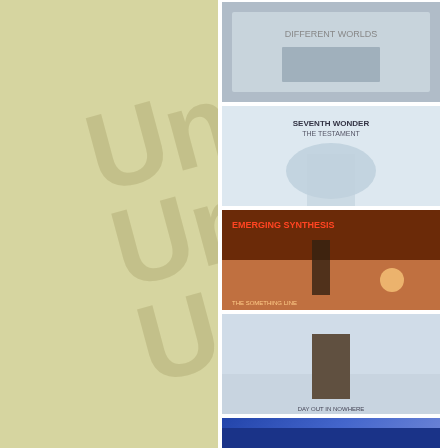Mickey Mulcahy guitar Mike Varney guitar Willie Morris backing vocals Mike Mani Hammond B-3 organ
Tracks
1. Diablo Canyon
2. Dregs Fall to the Wicked
3. Let the Fingers Do the Walkin'
4. Steam on the
[Figure (photo): Album cover - light/grey background]
[Figure (photo): Seventh Wonder - The Testament album cover]
[Figure (photo): Emerging Synthesis album cover - desert scene]
[Figure (photo): Album cover - desert/white landscape with person]
[Figure (photo): Fatal Vision album cover]